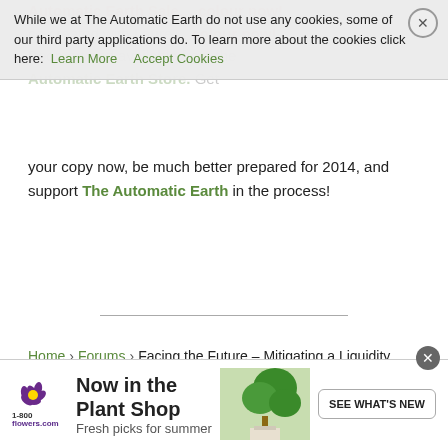While we at The Automatic Earth do not use any cookies, some of our third party applications do. To learn more about the cookies click here: Learn More   Accept Cookies
your copy now, be much better prepared for 2014, and support The Automatic Earth in the process!
Home › Forums › Facing the Future – Mitigating a Liquidity Crunch
This topic has 19 replies, 10 voices, and was last updated 8 years, 1 month ago by jroger01.
Viewing 20 posts - 1 through 20 (of 20 total)
| Author | Posts |
| --- | --- |
[Figure (other): 1-800-flowers.com advertisement banner: 'Now in the Plant Shop - Fresh picks for summer' with plant image and 'SEE WHAT'S NEW' button]